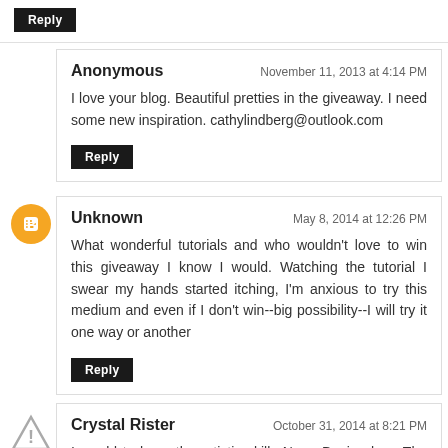Reply
Anonymous
November 11, 2013 at 4:14 PM
I love your blog. Beautiful pretties in the giveaway. I need some new inspiration. cathylindberg@outlook.com
Reply
Unknown
May 8, 2014 at 12:26 PM
What wonderful tutorials and who wouldn't love to win this giveaway I know I would. Watching the tutorial I swear my hands started itching, I'm anxious to try this medium and even if I don't win--big possibility--I will try it one way or another
Reply
Crystal Rister
October 31, 2014 at 8:21 PM
I would to have the artistic skills Nunn Design has. The work is gorgeous, classic and have a vintage quality.